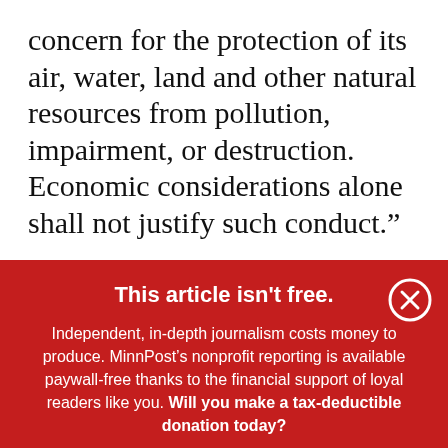concern for the protection of its air, water, land and other natural resources from pollution, impairment, or destruction. Economic considerations alone shall not justify such conduct.”
This article isn't free.
Independent, in-depth journalism costs money to produce. MinnPost’s nonprofit reporting is available paywall-free thanks to the financial support of loyal readers like you. Will you make a tax-deductible donation today?
DONATE NOW